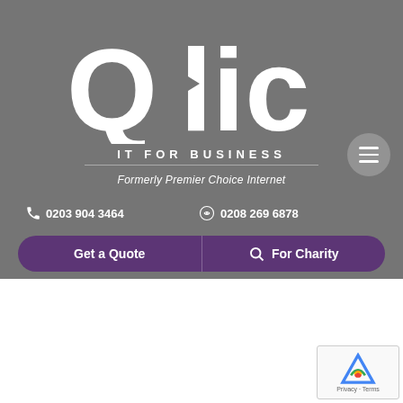[Figure (logo): Qlic IT For Business logo - white text on grey background, with tagline 'IT FOR BUSINESS' and subtitle 'Formerly Premier Choice Internet']
0203 904 3464
0208 269 6878
Get a Quote
For Charity
[Figure (other): reCAPTCHA widget with Privacy and Terms links]